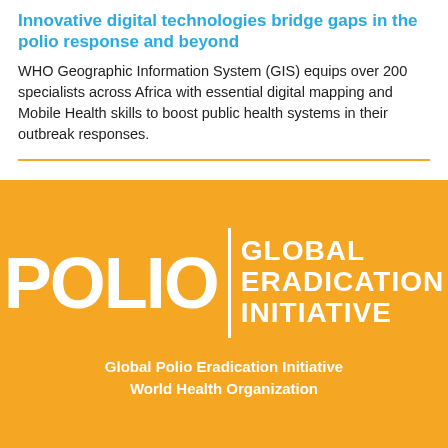Innovative digital technologies bridge gaps in the polio response and beyond
WHO Geographic Information System (GIS) equips over 200 specialists across Africa with essential digital mapping and Mobile Health skills to boost public health systems in their outbreak responses.
[Figure (logo): Polio Global Eradication Initiative logo on orange background with white text. Large 'POLIO' text on left, vertical divider, then 'GLOBAL ERADICATION INITIATIVE' stacked on right.]
Global Polio Eradication Initiative
World Health Organization